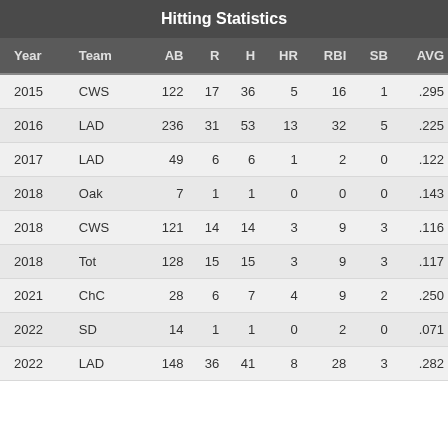Hitting Statistics
| Year | Team | AB | R | H | HR | RBI | SB | AVG |
| --- | --- | --- | --- | --- | --- | --- | --- | --- |
| 2015 | CWS | 122 | 17 | 36 | 5 | 16 | 1 | .295 |
| 2016 | LAD | 236 | 31 | 53 | 13 | 32 | 5 | .225 |
| 2017 | LAD | 49 | 6 | 6 | 1 | 2 | 0 | .122 |
| 2018 | Oak | 7 | 1 | 1 | 0 | 0 | 0 | .143 |
| 2018 | CWS | 121 | 14 | 14 | 3 | 9 | 3 | .116 |
| 2018 | Tot | 128 | 15 | 15 | 3 | 9 | 3 | .117 |
| 2021 | ChC | 28 | 6 | 7 | 4 | 9 | 2 | .250 |
| 2022 | SD | 14 | 1 | 1 | 0 | 2 | 0 | .071 |
| 2022 | LAD | 148 | 36 | 41 | 8 | 28 | 3 | .282 |